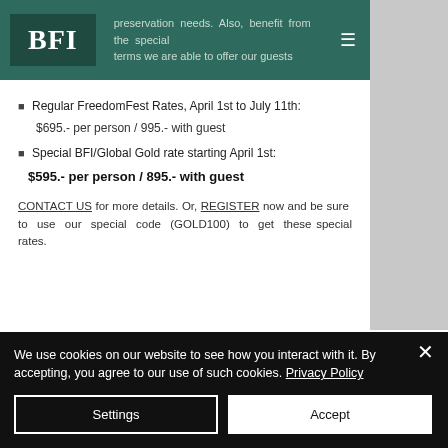BFI — preservation needs. Also, benefit from the special terms we are able to offer our guests
Regular FreedomFest Rates, April 1st to July 11th:
$695.- per person / 995.- with guest
Special BFI/Global Gold rate starting April 1st:
$595.- per person / 895.- with guest
CONTACT US for more details. Or, REGISTER now and be sure to use our special code (GOLD100) to get these special rates.
We use cookies on our website to see how you interact with it. By accepting, you agree to our use of such cookies. Privacy Policy
Settings
Accept